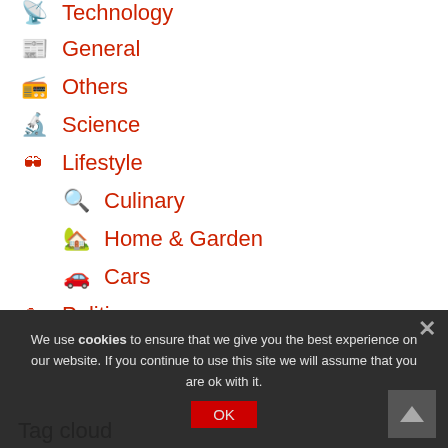Technology
General
Others
Science
Lifestyle
Culinary
Home & Garden
Cars
Politics
We use cookies to ensure that we give you the best experience on our website. If you continue to use this site we will assume that you are ok with it.
Tag cloud